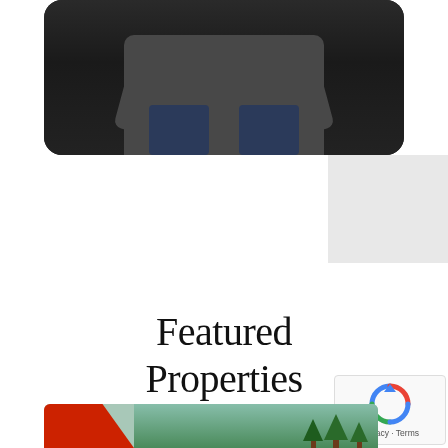[Figure (photo): A person wearing a dark gray button-up shirt seated in a chair, photographed from chest down with arms resting; dark background.]
Featured Properties
[Figure (photo): Bottom portion of a property photo showing a red angled shape on the left and green trees on the right against a light sky background.]
[Figure (other): Google reCAPTCHA badge with Privacy and Terms links.]